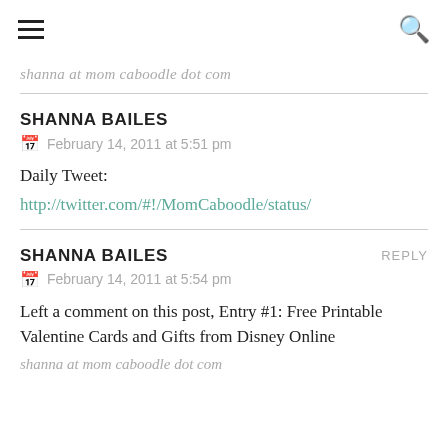☰  🔍
shanna at mom caboodle dot com
SHANNA BAILES
February 14, 2011 at 5:51 pm
Daily Tweet:
http://twitter.com/#!/MomCaboodle/status/
SHANNA BAILES
REPLY
February 14, 2011 at 5:54 pm
Left a comment on this post, Entry #1: Free Printable Valentine Cards and Gifts from Disney Online
shanna at mom caboodle dot com